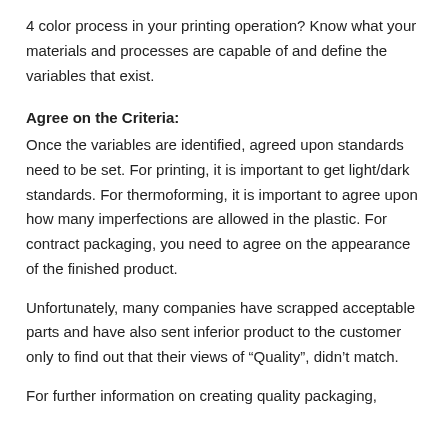4 color process in your printing operation?  Know what your materials and processes are capable of and define the variables that exist.
Agree on the Criteria:
Once the variables are identified, agreed upon standards need to be set.  For printing, it is important to get light/dark standards.  For thermoforming, it is important to agree upon how many imperfections are allowed in the plastic.  For contract packaging, you need to agree on the appearance of the finished product.
Unfortunately, many companies have scrapped acceptable parts and have also sent inferior product to the customer only to find out that their views of “Quality”, didn’t match.
For further information on creating quality packaging,